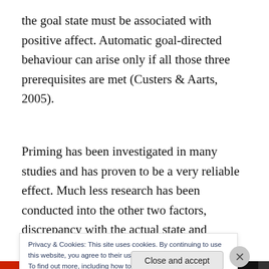the goal state must be associated with positive affect. Automatic goal-directed behaviour can arise only if all those three prerequisites are met (Custers & Aarts, 2005).
Priming has been investigated in many studies and has proven to be a very reliable effect. Much less research has been conducted into the other two factors, discrepancy with the actual state and association with positive affect.
Privacy & Cookies: This site uses cookies. By continuing to use this website, you agree to their use.
To find out more, including how to control cookies, see here: Cookie Policy
Close and accept